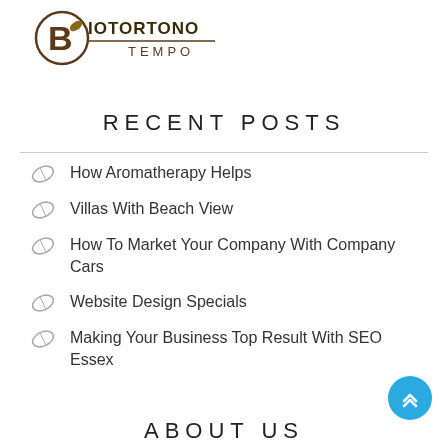[Figure (logo): Biotortono Tempo logo — circular B icon with leaf motif and brand name in brown/dark tone]
RECENT POSTS
How Aromatherapy Helps
Villas With Beach View
How To Market Your Company With Company Cars
Website Design Specials
Making Your Business Top Result With SEO Essex
ABOUT US